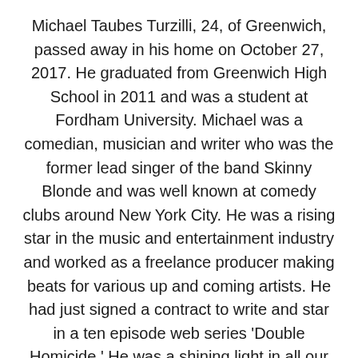Michael Taubes Turzilli, 24, of Greenwich, passed away in his home on October 27, 2017. He graduated from Greenwich High School in 2011 and was a student at Fordham University. Michael was a comedian, musician and writer who was the former lead singer of the band Skinny Blonde and was well known at comedy clubs around New York City. He was a rising star in the music and entertainment industry and worked as a freelance producer making beats for various up and coming artists. He had just signed a contract to write and star in a ten episode web series 'Double Homicide.' He was a shining light in all our lives, known for his amazing sense of humor and effortless confidence. He had a profound impact on everyone who had the pleasure of knowing him and will be missed by many. He is survived by his loving mother Lisa Taubes; maternal grandmother